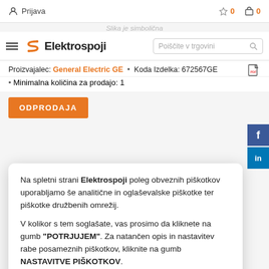Prijava  ☆ 0  🛒 0
[Figure (logo): Elektrospoji logo with hamburger menu and search bar]
Slika je simbolična
Proizvajalec: General Electric GE  •  Koda Izdelka: 672567GE
Minimalna količina za prodajo: 1
ODPRODAJA
Na spletni strani Elektrospoji poleg obveznih piškotkov uporabljamo še analitične in oglaševalske piškotke ter piškotke družbenih omrežij.
V kolikor s tem soglašate, vas prosimo da kliknete na gumb "POTRJUJEM". Za natančen opis in nastavitev rabe posameznih piškotkov, kliknite na gumb NASTAVITVE PIŠKOTKOV.
POTRJUJEM
Nastavitve piškotkov